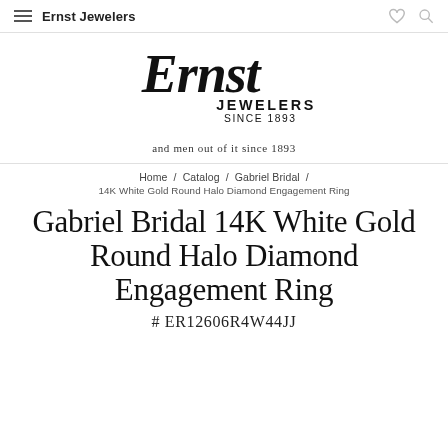Ernst Jewelers
[Figure (logo): Ernst Jewelers scripted logo with text JEWELERS SINCE 1893]
and men out of it since 1893
Home / Catalog / Gabriel Bridal /
14K White Gold Round Halo Diamond Engagement Ring
Gabriel Bridal 14K White Gold Round Halo Diamond Engagement Ring
# ER12606R4W44JJ